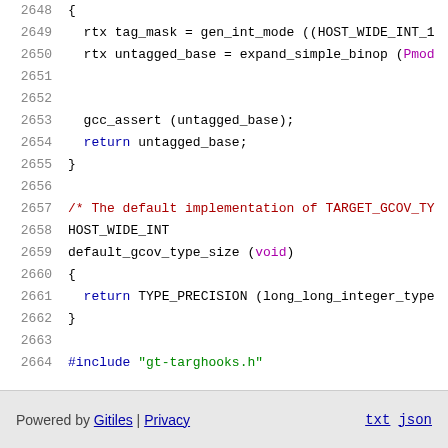Source code viewer showing lines 2648–2664 of a C source file
Powered by Gitiles | Privacy  txt  json